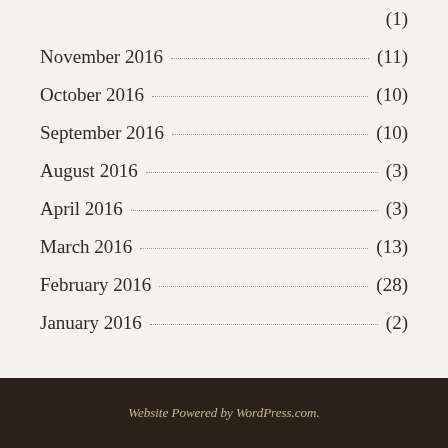(1)
November 2016 (11)
October 2016 (10)
September 2016 (10)
August 2016 (3)
April 2016 (3)
March 2016 (13)
February 2016 (28)
January 2016 (2)
Website Powered by WordPress.com.